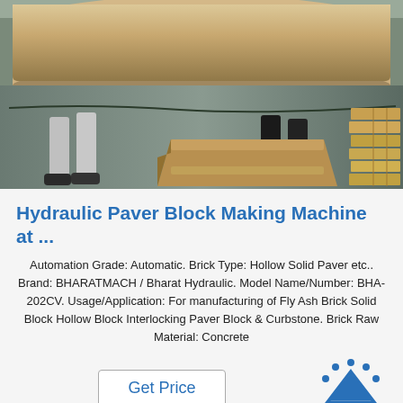[Figure (photo): Industrial photo showing a large cylindrical hydraulic machine component in a factory floor, with workers' legs visible on either side and wooden pallets on the ground.]
Hydraulic Paver Block Making Machine at ...
Automation Grade: Automatic. Brick Type: Hollow Solid Paver etc.. Brand: BHARATMACH / Bharat Hydraulic. Model Name/Number: BHA-202CV. Usage/Application: For manufacturing of Fly Ash Brick Solid Block Hollow Block Interlocking Paver Block & Curbstone. Brick Raw Material: Concrete
[Figure (logo): TOP logo with dots arranged in an arc above the word TOP in blue.]
Get Price